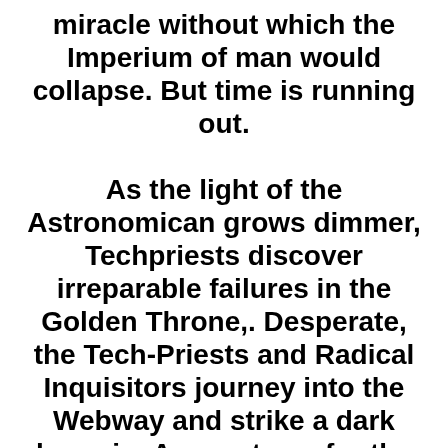miracle without which the Imperium of man would collapse. But time is running out.

As the light of the Astronomican grows dimmer, Techpriests discover irreparable failures in the Golden Throne,. Desperate, the Tech-Priests and Radical Inquisitors journey into the Webway and strike a dark bargain. A secret war for the fate of all humanity rages. Forces of evil and good alike